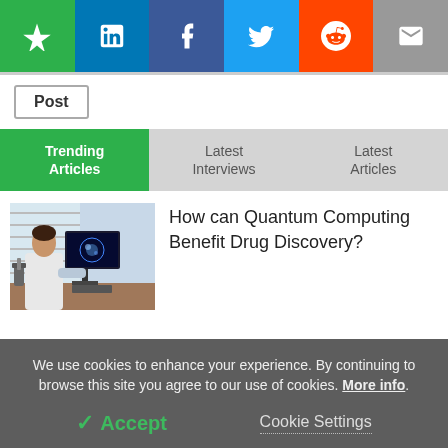[Figure (infographic): Social sharing bar with icons: star (green), LinkedIn (blue), Facebook (dark blue), Twitter (light blue), Reddit (orange), email (gray)]
Post
Trending Articles
Latest Interviews
Latest Articles
[Figure (photo): Scientist in white lab coat looking at a computer monitor displaying microscope imagery in a laboratory setting]
How can Quantum Computing Benefit Drug Discovery?
We use cookies to enhance your experience. By continuing to browse this site you agree to our use of cookies. More info.
✓ Accept
Cookie Settings